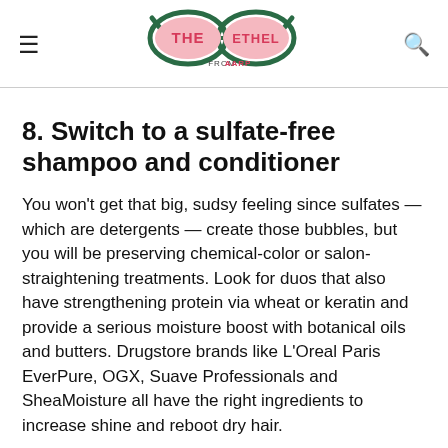The Ethel from AARP
8. Switch to a sulfate-free shampoo and conditioner
You won't get that big, sudsy feeling since sulfates — which are detergents — create those bubbles, but you will be preserving chemical-color or salon-straightening treatments. Look for duos that also have strengthening protein via wheat or keratin and provide a serious moisture boost with botanical oils and butters. Drugstore brands like L'Oreal Paris EverPure, OGX, Suave Professionals and SheaMoisture all have the right ingredients to increase shine and reboot dry hair.
9. Make bold moves to avoid build-up